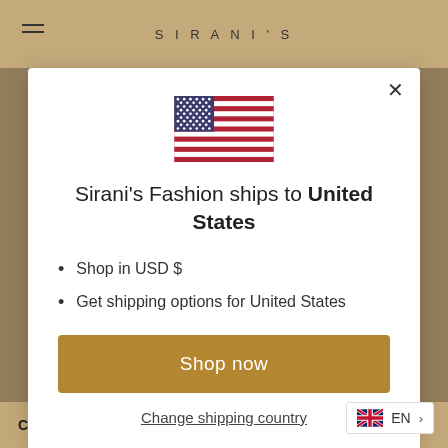SIRANI'S
[Figure (illustration): US flag illustration inside modal dialog]
Sirani's Fashion ships to United States
Shop in USD $
Get shipping options for United States
Shop now
Change shipping country
Care instruction:
EN